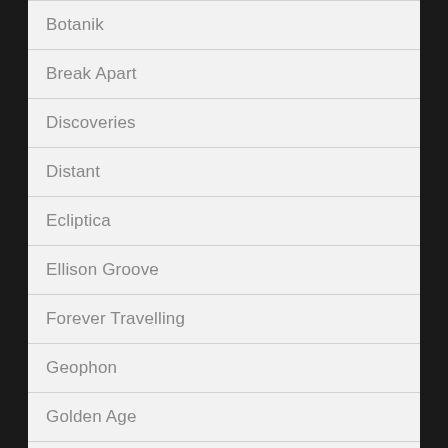Botanik
Break Apart
Discoveries
Distant
Ecliptica
Ellison Groove
Forever Travelling
Geophon
Golden Age
Guestmix